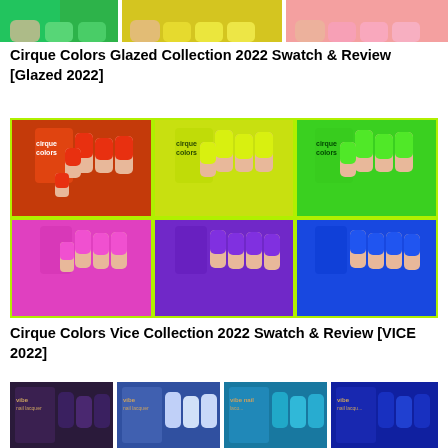[Figure (photo): Partial top strip showing colorful nail polish bottles in green, yellow, and pink/peach tones]
Cirque Colors Glazed Collection 2022 Swatch & Review [Glazed 2022]
[Figure (photo): 6-panel grid of nail polish swatches: top row shows orange-red, yellow-green, and bright green; bottom row shows pink, purple, and blue neon nail polishes labeled cirque colors]
Cirque Colors Vice Collection 2022 Swatch & Review [VICE 2022]
[Figure (photo): 4-panel bottom strip showing dark multichrome, holographic glitter, teal-blue chrome, and deep blue nail polish swatches labeled vibe nail lacquer]